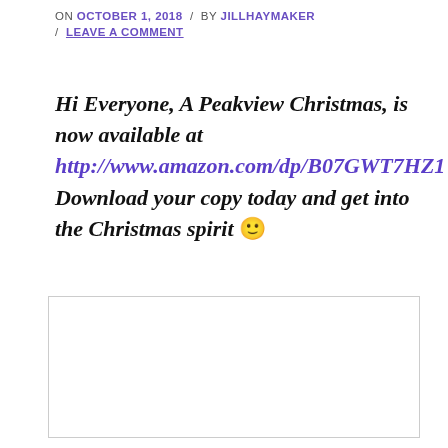ON OCTOBER 1, 2018 / BY JILLHAYMAKER / LEAVE A COMMENT
Hi Everyone, A Peakview Christmas, is now available at http://www.amazon.com/dp/B07GWT7HZ1 Download your copy today and get into the Christmas spirit 🙂
[Figure (other): Empty white comment/content box with light gray border]